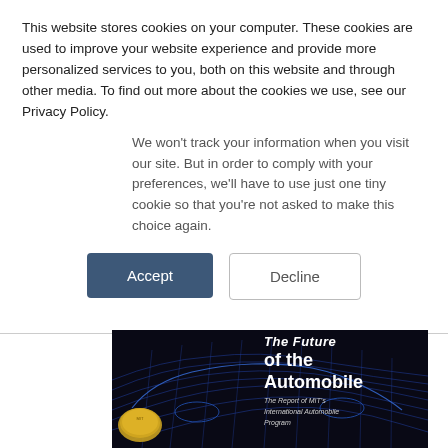This website stores cookies on your computer. These cookies are used to improve your website experience and provide more personalized services to you, both on this website and through other media. To find out more about the cookies we use, see our Privacy Policy.
We won't track your information when you visit our site. But in order to comply with your preferences, we'll have to use just one tiny cookie so that you're not asked to make this choice again.
Accept
Decline
[Figure (photo): Book cover of 'The Future of the Automobile: The Report of MIT's International Automobile Program'. Dark/black background with a wireframe blue grid illustration of a car, a yellow coin-like object on the lower left, and white bold text showing the title.]